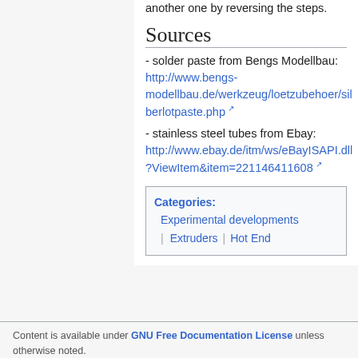another one by reversing the steps.
Sources
- solder paste from Bengs Modellbau: http://www.bengs-modellbau.de/werkzeug/loetzubehoer/silberlotpaste.php
- stainless steel tubes from Ebay: http://www.ebay.de/itm/ws/eBayISAPI.dll?ViewItem&item=221146411608
Categories: Experimental developments | Extruders | Hot End
Content is available under GNU Free Documentation License unless otherwise noted.
Privacy policy | About RepRap | Disclaimers